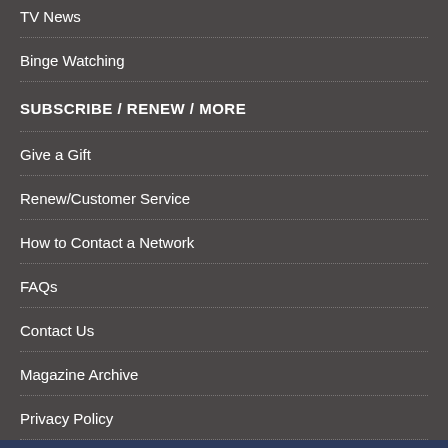TV News
Binge Watching
SUBSCRIBE / RENEW / MORE
Give a Gift
Renew/Customer Service
How to Contact a Network
FAQs
Contact Us
Magazine Archive
Privacy Policy
This website stores data such as cookies to enable essential site functionality, as well as marketing, personalization, and analytics. By remaining on this website you indicate your consent. Privacy Policy